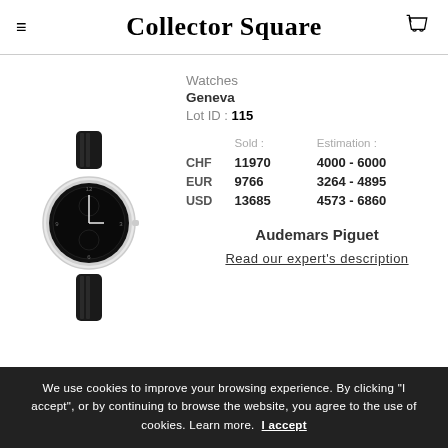Collector Square
[Figure (photo): Watch with dark dial and black leather strap, Audemars Piguet style]
Watches
Geneva
Lot ID : 115
|  | Sold : | Estimation : |
| --- | --- | --- |
| CHF | 11970 | 4000 - 6000 |
| EUR | 9766 | 3264 - 4895 |
| USD | 13685 | 4573 - 6860 |
Audemars Piguet
Read our expert's description
[Figure (photo): Second watch with dark strap, partial view]
Sale date : 03/06/2021
Country : États-Unis
We use cookies to improve your browsing experience. By clicking "I accept", or by continuing to browse the website, you agree to the use of cookies. Learn more. I accept